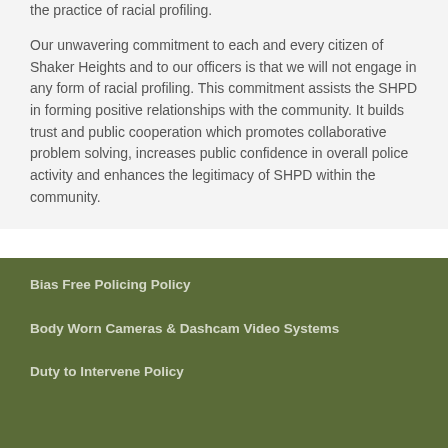the practice of racial profiling.
Our unwavering commitment to each and every citizen of Shaker Heights and to our officers is that we will not engage in any form of racial profiling. This commitment assists the SHPD in forming positive relationships with the community. It builds trust and public cooperation which promotes collaborative problem solving, increases public confidence in overall police activity and enhances the legitimacy of SHPD within the community.
Bias Free Policing Policy
Body Worn Cameras & Dashcam Video Systems
Duty to Intervene Policy